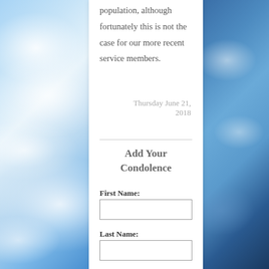[Figure (illustration): Decorative sky/clouds background on left side of page]
population, although fortunately this is not the case for our more recent service members.
Thursday June 21, 2018
Add Your Condolence
First Name:
Last Name:
[Figure (illustration): Decorative dark blue sky background on right side of page]